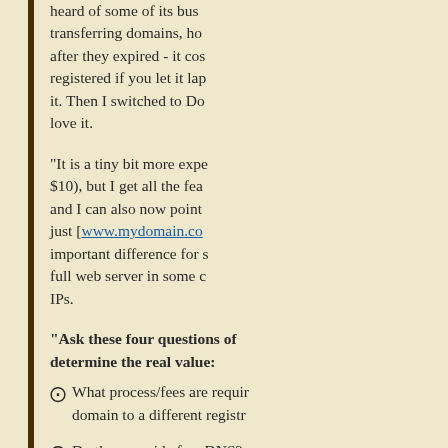heard of some of its business practices - transferring domains, holding domains hostage after they expired - it costs more to get it re-registered if you let it lapse than to just renew it. Then I switched to DomainMonger and love it.
"It is a tiny bit more expe... $10), but I get all the fea... and I can also now point ... just [www.mydomain.co... important difference for s... full web server in some c... IPs.
"Ask these four questions of ... determine the real value:
What process/fees are requir... domain to a different registr...
Do they provide free DNS? ... domain name, eg. register.co... hostnames, eg. Register.com